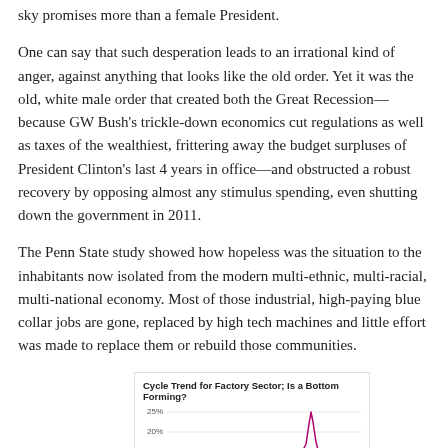sky promises more than a female President.
One can say that such desperation leads to an irrational kind of anger, against anything that looks like the old order. Yet it was the old, white male order that created both the Great Recession—because GW Bush's trickle-down economics cut regulations as well as taxes of the wealthiest, frittering away the budget surpluses of President Clinton's last 4 years in office—and obstructed a robust recovery by opposing almost any stimulus spending, even shutting down the government in 2011.
The Penn State study showed how hopeless was the situation to the inhabitants now isolated from the modern multi-ethnic, multi-racial, multi-national economy. Most of those industrial, high-paying blue collar jobs are gone, replaced by high tech machines and little effort was made to replace them or rebuild those communities.
[Figure (continuous-plot): Line chart showing cycle trend for factory sector with y-axis from roughly 10% to 25%, with a line that shows a spike around 15% area. The chart is partially cropped at the bottom.]